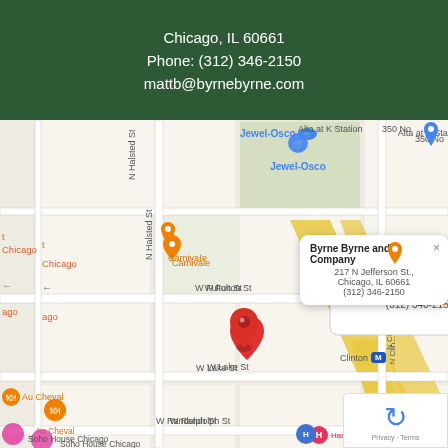Chicago, IL 60661
Phone: (312) 346-2150
mattb@byrnebyrne.com
[Figure (map): Google Maps screenshot showing the location of Byrne Byrne and Company at 217 N Jefferson St., Chicago, IL 60661, with an info popup showing the business name, address, and phone number (312) 346-2150. The map shows streets including W Fulton St, W Lake St, W Randolph St, N Halsted St, and nearby landmarks like Jewel-Osco, Alta at K Station, Carnivale, Clinton Metro station, Au Cheval, Alla Vita, Gibsons Ita, Hampton Inn Chicago Downtown West Loop, and Soho House Chicago. A red map pin marks the business location.]